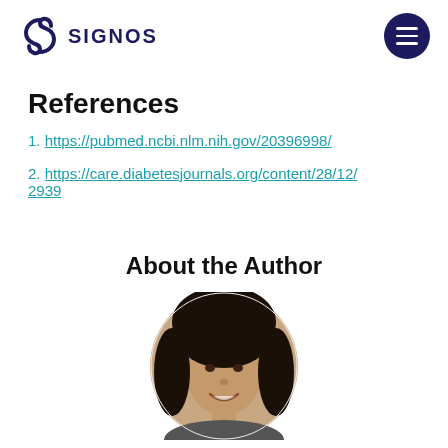SIGNOS
References
https://pubmed.ncbi.nlm.nih.gov/20396998/
https://care.diabetesjournals.org/content/28/12/2939
About the Author
[Figure (photo): Circular portrait photo of the author, a woman with dark hair, smiling.]